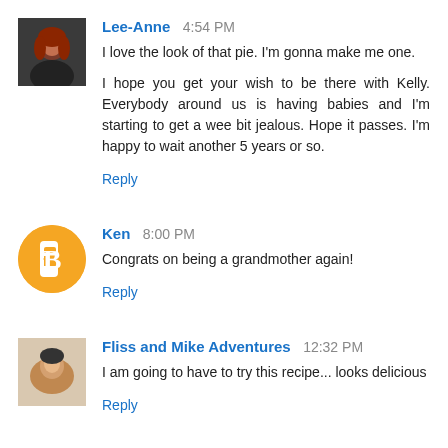Lee-Anne 4:54 PM
I love the look of that pie. I'm gonna make me one.

I hope you get your wish to be there with Kelly. Everybody around us is having babies and I'm starting to get a wee bit jealous. Hope it passes. I'm happy to wait another 5 years or so.
Reply
Ken 8:00 PM
Congrats on being a grandmother again!
Reply
Fliss and Mike Adventures 12:32 PM
I am going to have to try this recipe... looks delicious
Reply